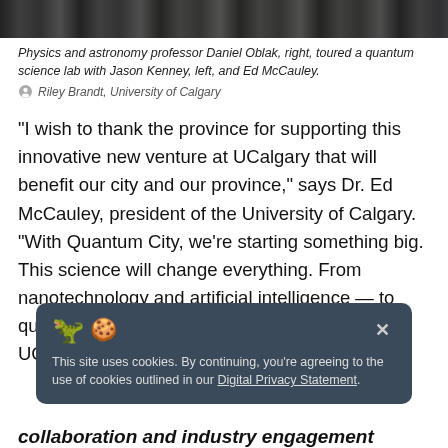[Figure (photo): Top strip of a photo showing a quantum science lab, partially cropped]
Physics and astronomy professor Daniel Oblak, right, toured a quantum science lab with Jason Kenney, left, and Ed McCauley.
Riley Brandt, University of Calgary
“I wish to thank the province for supporting this innovative new venture at UCalgary that will benefit our city and our province,” says Dr. Ed McCauley, president of the University of Calgary. “With Quantum City, we’re starting something big. This science will change everything. From nanotechnology and artificial intelligence — to quantum internet and biomedical engineering — UCalgary is
This site uses cookies. By continuing, you’re agreeing to the use of cookies outlined in our Digital Privacy Statement.
collaboration and industry engagement